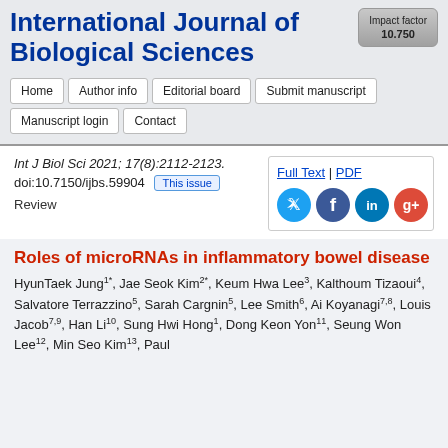[Figure (screenshot): Impact factor badge showing 10.750]
International Journal of Biological Sciences
Home
Author info
Editorial board
Submit manuscript
Manuscript login
Contact
Int J Biol Sci 2021; 17(8):2112-2123. doi:10.7150/ijbs.59904  This issue
[Figure (screenshot): Full Text | PDF links and social media icons (Twitter, Facebook, LinkedIn, Google+)]
Review
Roles of microRNAs in inflammatory bowel disease
HyunTaek Jung1*, Jae Seok Kim2*, Keum Hwa Lee3, Kalthoum Tizaoui4, Salvatore Terrazzino5, Sarah Cargnin5, Lee Smith6, Ai Koyanagi7,8, Louis Jacob7,9, Han Li10, Sung Hwi Hong1, Dong Keon Yon11, Seung Won Lee12, Min Seo Kim13, Paul